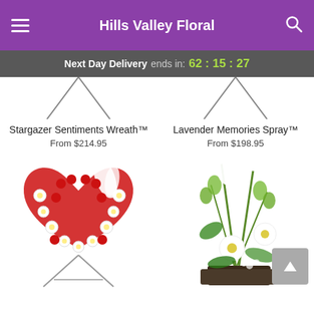Hills Valley Floral
Next Day Delivery ends in: 62:15:27
Stargazer Sentiments Wreath™
From $214.95
Lavender Memories Spray™
From $198.95
[Figure (photo): Heart-shaped floral wreath made of red roses and white daisies on a metal easel stand]
[Figure (photo): Green and white floral arrangement with gerbera daisies, white lilies, and green bell flowers in a dark container]